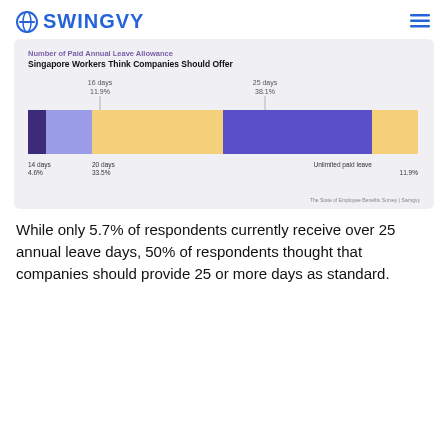SWINGVY
[Figure (stacked-bar-chart): Number of Paid Annual Leave Allowance Singapore Workers Think Companies Should Offer]
While only 5.7% of respondents currently receive over 25 annual leave days, 50% of respondents thought that companies should provide 25 or more days as standard.